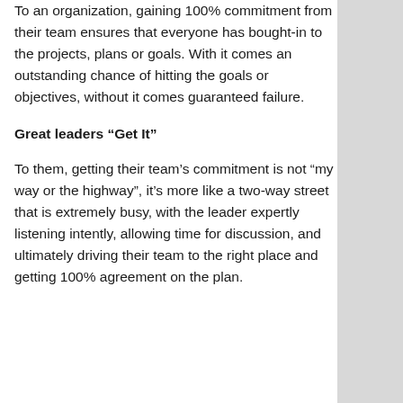To an organization, gaining 100% commitment from their team ensures that everyone has bought-in to the projects, plans or goals. With it comes an outstanding chance of hitting the goals or objectives, without it comes guaranteed failure.
Great leaders “Get It”
To them, getting their team’s commitment is not “my way or the highway”, it’s more like a two-way street that is extremely busy, with the leader expertly listening intently, allowing time for discussion, and ultimately driving their team to the right place and getting 100% agreement on the plan.